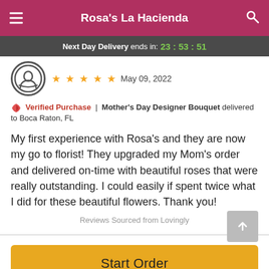Rosa's La Hacienda
Next Day Delivery ends in: 23:53:51
★★★★★  May 09, 2022
Verified Purchase | Mother's Day Designer Bouquet delivered to Boca Raton, FL
My first experience with Rosa's and they are now my go to florist! They upgraded my Mom's order and delivered on-time with beautiful roses that were really outstanding. I could easily if spent twice what I did for these beautiful flowers. Thank you!
Reviews Sourced from Lovingly
Start Order